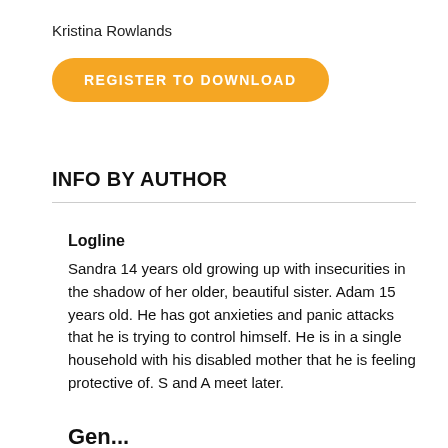Kristina Rowlands
[Figure (other): Orange rounded rectangle button with white uppercase text: REGISTER TO DOWNLOAD]
INFO BY AUTHOR
Logline
Sandra 14 years old growing up with insecurities in the shadow of her older, beautiful sister. Adam 15 years old. He has got anxieties and panic attacks that he is trying to control himself. He is in a single household with his disabled mother that he is feeling protective of. S and A meet later.
Gen...